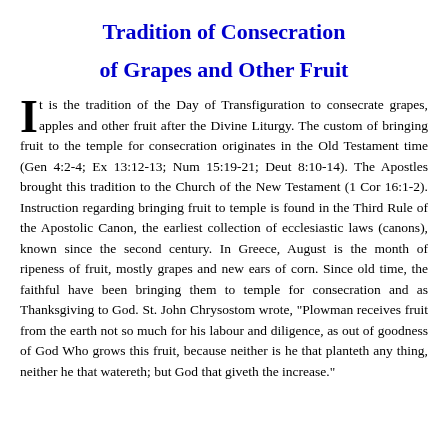Tradition of Consecration of Grapes and Other Fruit
It is the tradition of the Day of Transfiguration to consecrate grapes, apples and other fruit after the Divine Liturgy. The custom of bringing fruit to the temple for consecration originates in the Old Testament time (Gen 4:2-4; Ex 13:12-13; Num 15:19-21; Deut 8:10-14). The Apostles brought this tradition to the Church of the New Testament (1 Cor 16:1-2). Instruction regarding bringing fruit to temple is found in the Third Rule of the Apostolic Canon, the earliest collection of ecclesiastic laws (canons), known since the second century. In Greece, August is the month of ripeness of fruit, mostly grapes and new ears of corn. Since old time, the faithful have been bringing them to temple for consecration and as Thanksgiving to God. St. John Chrysostom wrote, "Plowman receives fruit from the earth not so much for his labour and diligence, as out of goodness of God Who grows this fruit, because neither is he that planteth any thing, neither he that watereth; but God that giveth the increase."